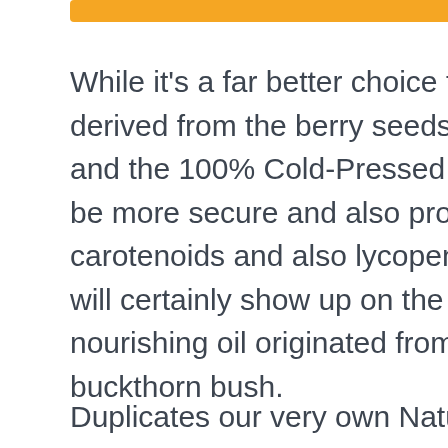[Figure (other): Orange decorative bar at top of page]
While it's a far better choice than sea buckthorn oils that are derived from the berry seeds, the100% Plant-Derived Squalane and the 100% Cold-Pressed Virgin Marula Oilare mosting likely to be more secure and also protective. Because it is high in carotenoids and also lycopene, it has an orangey-red colour that will certainly show up on the skin up until it is washed off. A nourishing oil originated from the pulp of the berries on the sea buckthorn bush.
Duplicates our very own Natural Hydrating Aspects, which are naturally-occurring amino acid